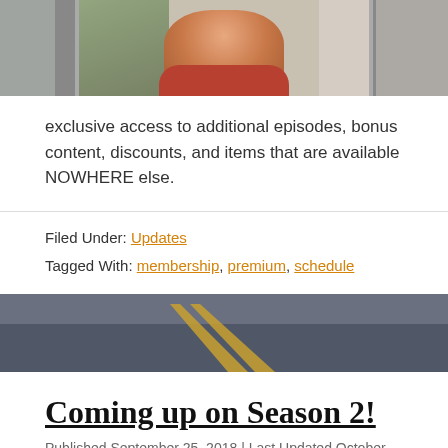[Figure (photo): Partial photo showing top of a person in a red shirt, cropped at shoulders/head level, with a plant and window blinds in background]
exclusive access to additional episodes, bonus content, discounts, and items that are available NOWHERE else.
Filed Under: Updates
Tagged With: membership, premium, schedule
[Figure (photo): Photo of a road with yellow lane markings, viewed from close to the ground looking ahead]
Coming up on Season 2!
Published September 25, 2018 | Last Updated October